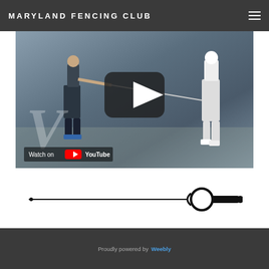MARYLAND FENCING CLUB
[Figure (screenshot): YouTube video thumbnail showing two fencers competing, with a play button overlay and 'Watch on YouTube' badge at bottom left]
[Figure (illustration): Fencing sword/epee horizontal divider illustration in black]
Proudly powered by Weebly